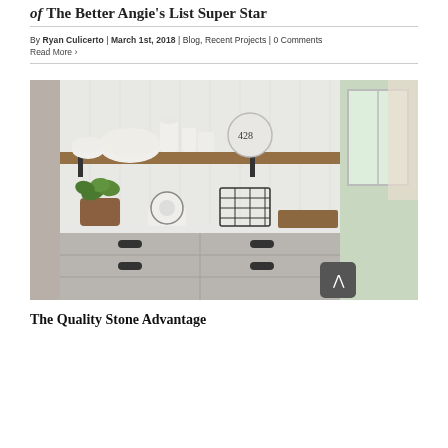of The Better Angie's List Super Star
By Ryan Culicerto | March 1st, 2018 | Blog, Recent Projects | 0 Comments
Read More ›
[Figure (photo): Farmhouse-style kitchen hutch with open wooden shelves displaying white ceramics including bowls, pitchers, and a plate marked '428'. Lower shelf has a potted green plant in a wicker basket, a white vintage kitchen scale, and a wire basket. Cabinet below has gray painted drawers with black hardware. Window with sheer curtains visible on right.]
The Quality Stone Advantage